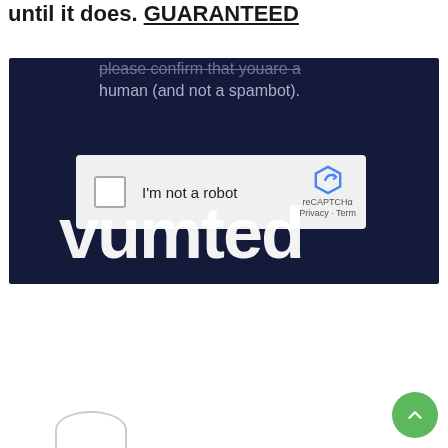until it does. GUARANTEED
[Figure (screenshot): Screenshot of a Vimeo page showing a CAPTCHA dialog with reCAPTCHA widget ('I'm not a robot' checkbox) overlaid on a dark navy background with the Vimeo logo text visible beneath.]
[Figure (other): Green circular scroll-to-top button with upward chevron arrow.]
[Figure (other): Partial circle/arc shape at bottom left, appears to be a profile or navigation element.]